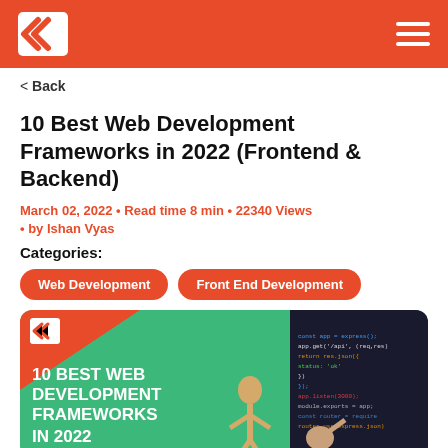Kraftshala logo and navigation
< Back
10 Best Web Development Frameworks in 2022 (Frontend & Backend)
March 02, 2022 • Read time 8 min • 22340 Views • by Ishan Vyas
Categories:
Web Development
Front End Development
[Figure (illustration): Article feature image with green background showing '10 BEST WEB DEVELOPMENT FRAMEWORKS IN 2022' text with a wooden mannequin figure and a person pointing at a monitor with code]